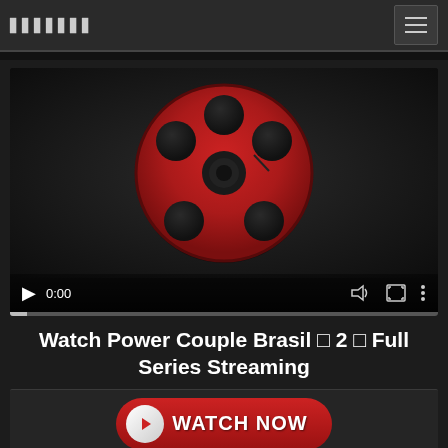▋▋▋▋▋▋▋
[Figure (screenshot): Video player showing a red film reel icon on dark background with play controls showing 0:00 timestamp]
Watch Power Couple Brasil □ 2 □ Full Series Streaming
[Figure (other): Watch Now button with red rounded rectangle and white play circle icon]